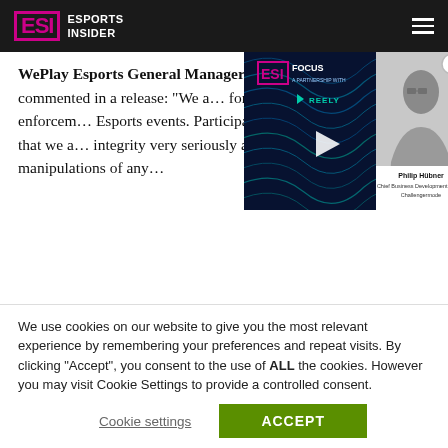ESI ESPORTS INSIDER
WePlay Esports General Manager Oleh Humeniuk commented in a release: “We a… formidable ally in the enforcem… Esports events. Participation i… players and partners that we a… integrity very seriously and app… to match manipulations of any…
[Figure (screenshot): ESI Focus video player overlay with wavy background, play button, and thumbnail of Philip Hübner, Chief Business Development Officer at Challengermode]
The event organiser is said to have previously engaged in information sharing with ESIC, supporting a recent ruling surrounding the Counter-Strike spectator bug investigation. On September 28, ESIC provided an update into its inquiry, penalising 37 coaches who were found
We use cookies on our website to give you the most relevant experience by remembering your preferences and repeat visits. By clicking “Accept”, you consent to the use of ALL the cookies. However you may visit Cookie Settings to provide a controlled consent.